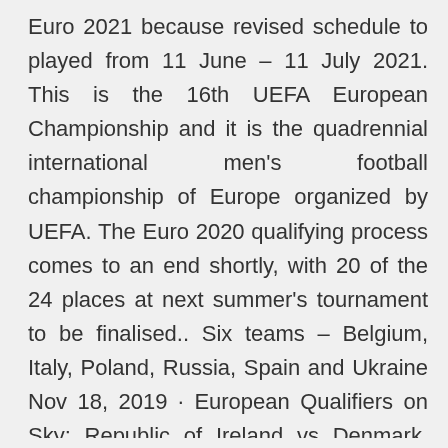Euro 2021 because revised schedule to played from 11 June – 11 July 2021. This is the 16th UEFA European Championship and it is the quadrennial international men's football championship of Europe organized by UEFA. The Euro 2020 qualifying process comes to an end shortly, with 20 of the 24 places at next summer's tournament to be finalised.. Six teams – Belgium, Italy, Poland, Russia, Spain and Ukraine Nov 18, 2019 · European Qualifiers on Sky: Republic of Ireland vs Denmark. Watch the game live on Sky Sports Main Event and Sky Sports Mix from 7pm on Monday; kick-off 7.45pm Euro 2020 Qualifiers: Scotland lose Kenny McLean for Russia game Russia vs Scotland is live on Sky Sports Football on Thursday; kick-off 7.45pm Nov 30, 2019 · The draw for UEFA Euro 2020 took place on Saturday, headlined by a Group of Death featuring